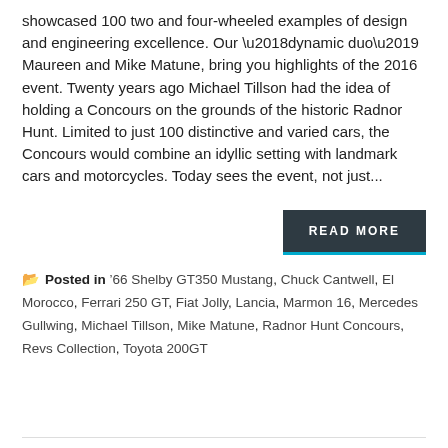showcased 100 two and four-wheeled examples of design and engineering excellence. Our ‘dynamic duo’ Maureen and Mike Matune, bring you highlights of the 2016 event. Twenty years ago Michael Tillson had the idea of holding a Concours on the grounds of the historic Radnor Hunt. Limited to just 100 distinctive and varied cars, the Concours would combine an idyllic setting with landmark cars and motorcycles. Today sees the event, not just...
READ MORE
Posted in '66 Shelby GT350 Mustang, Chuck Cantwell, El Morocco, Ferrari 250 GT, Fiat Jolly, Lancia, Marmon 16, Mercedes Gullwing, Michael Tillson, Mike Matune, Radnor Hunt Concours, Revs Collection, Toyota 200GT